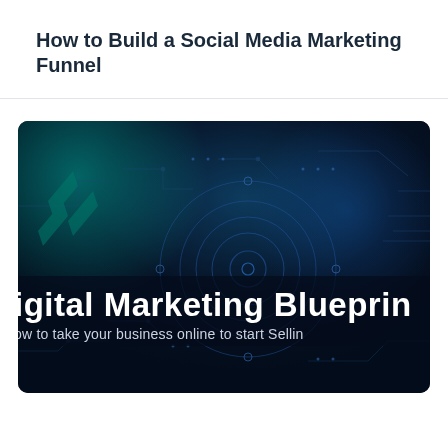How to Build a Social Media Marketing Funnel
[Figure (photo): Dark blue digital marketing themed banner image with teal circular glow, tech circuit/gear overlay graphics, and bold white text reading 'Digital Marketing Blueprint' with subtitle 'How to take your business online to start Selling']